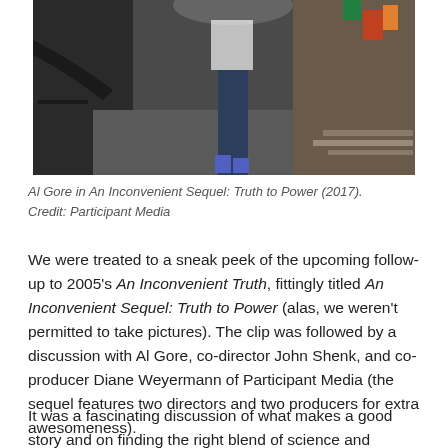[Figure (photo): Behind-the-scenes photo showing Al Gore and film crew, taken from a low angle inside what appears to be a film set or outdoor location with equipment and people visible.]
Al Gore in An Inconvenient Sequel: Truth to Power (2017). Credit: Participant Media
We were treated to a sneak peek of the upcoming follow-up to 2005's An Inconvenient Truth, fittingly titled An Inconvenient Sequel: Truth to Power (alas, we weren't permitted to take pictures). The clip was followed by a discussion with Al Gore, co-director John Shenk, and co-producer Diane Weyermann of Participant Media (the sequel features two directors and two producers for extra awesomeness).
It was a fascinating discussion of what makes a good story and on finding the right blend of science and